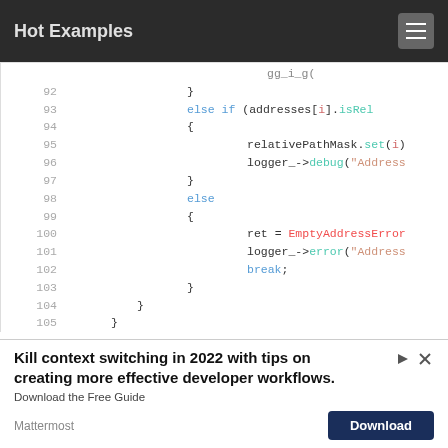Hot Examples
[Figure (screenshot): Code viewer showing C++ code lines 92-105 with syntax highlighting. Lines show an else-if block checking addresses[i].isRel, setting relativePathMask.set(i), logging, an else block setting ret = EmptyAddressError, logging, and break.]
Kill context switching in 2022 with tips on creating more effective developer workflows. Download the Free Guide. Mattermost. Download.